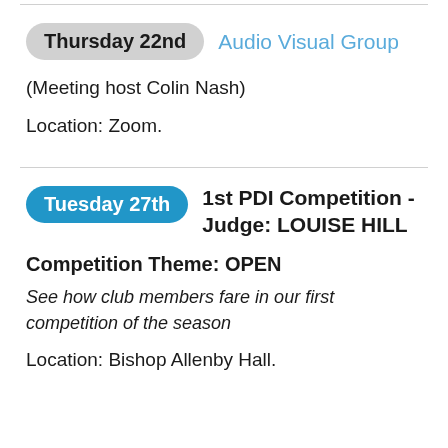Thursday 22nd  Audio Visual Group
(Meeting host Colin Nash)
Location: Zoom.
Tuesday 27th  1st PDI Competition - Judge: LOUISE HILL
Competition Theme: OPEN
See how club members fare in our first competition of the season
Location: Bishop Allenby Hall.